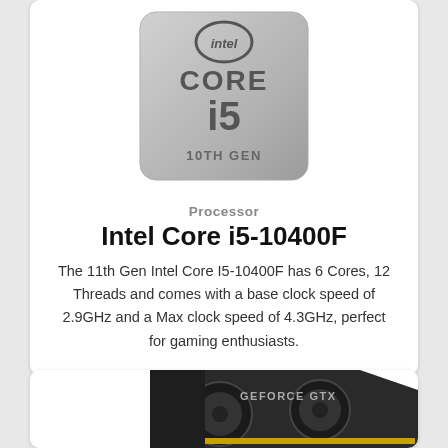[Figure (logo): Intel Core i5 10th Gen processor logo badge, silver metallic background with Intel Core i5 10TH GEN text]
Processor
Intel Core i5-10400F
The 11th Gen Intel Core I5-10400F has 6 Cores, 12 Threads and comes with a base clock speed of 2.9GHz and a Max clock speed of 4.3GHz, perfect for gaming enthusiasts.
[Figure (photo): ASUS GeForce GTX graphics card, dark gunmetal finish with gold accents, partially visible at bottom of page]